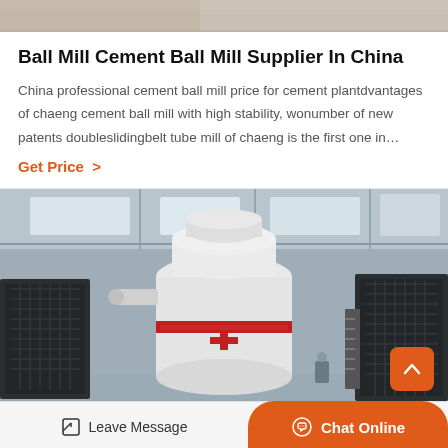[Figure (photo): Top strip of an industrial image, partially cropped]
Ball Mill Cement Ball Mill Supplier In China
China professional cement ball mill price for cement plantdvantages of chaeng cement ball mill with high stability, wonumber of new patents doubleslidingbelt tube mill of chaeng is the first one in…
Get Price  >
[Figure (photo): Industrial ball mill machine in a large factory/warehouse setting. Large white cylindrical grinding machine with red accent band, flanked by black metal structures and staircases.]
Leave Message   Chat Online